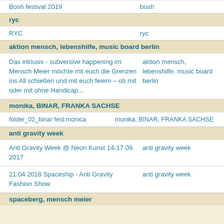| Bosh festival 2019 | bosh |
| RYC | ryc |
ryc
aktion mensch, lebenshilfe, music board berlin
| Das inklusiv - subversive happening im Mensch Meier möchte mit euch die Grenzen ins All schießen und mit euch feiern – ob mit oder mit ohne Handicap... | aktion mensch, lebenshilfe, music board berlin |
monika, BINAR, FRANKA SACHSE
| folder_02_binar fest:monica | monika, BINAR, FRANKA SACHSE |
anti gravity week
| Anti Gravity Week @ Neon Kunst 14-17.09. 2017 | anti gravity week |
| 21.04 2018 Spaceship - Anti Gravity Fashion Show | anti gravity week |
spaceberg, mensch meier